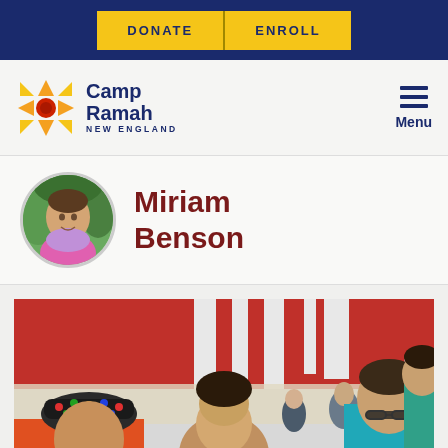DONATE | ENROLL
[Figure (logo): Camp Ramah New England logo with colorful star/compass icon in orange, yellow, red colors and text 'Camp Ramah NEW ENGLAND']
Menu
Miriam Benson
[Figure (photo): Camp photo showing several young people gathered around a table working on an activity, with a large red and white flag/banner in the background. Person in foreground wearing colorful bucket hat and orange shirt. Others include people wearing glasses.]